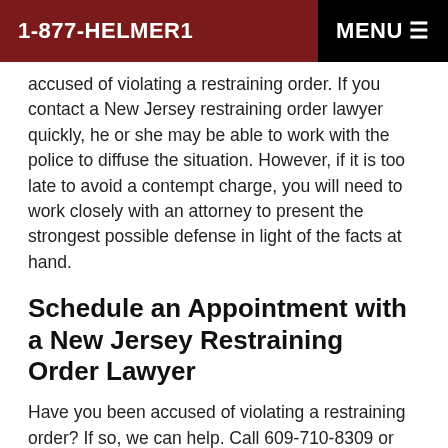1-877-HELMER1   MENU
accused of violating a restraining order. If you contact a New Jersey restraining order lawyer quickly, he or she may be able to work with the police to diffuse the situation. However, if it is too late to avoid a contempt charge, you will need to work closely with an attorney to present the strongest possible defense in light of the facts at hand.
Schedule an Appointment with a New Jersey Restraining Order Lawyer
Have you been accused of violating a restraining order? If so, we can help. Call 609-710-8309 or contact us online to speak with a New Jersey restraining order lawyer in confidence as soon as possible.